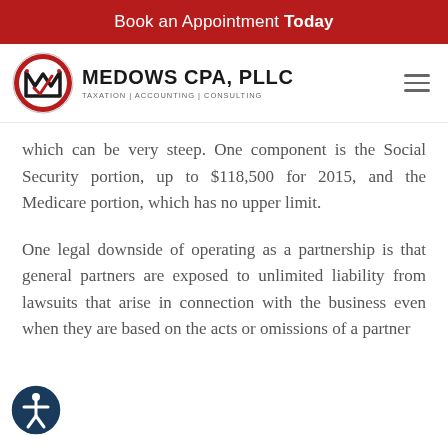Book an Appointment Today
[Figure (logo): Medows CPA, PLLC logo — circular emblem with stylized M and checkmark, text reading MEDOWS CPA, PLLC / TAXATION | ACCOUNTING | CONSULTING]
which can be very steep. One component is the Social Security portion, up to $118,500 for 2015, and the Medicare portion, which has no upper limit.
One legal downside of operating as a partnership is that general partners are exposed to unlimited liability from lawsuits that arise in connection with the business even when they are based on the acts or omissions of a partner